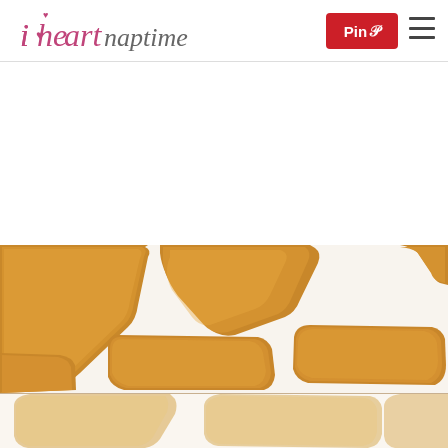i heart naptime — Pin button and hamburger menu
[Figure (photo): Multiple golden-brown soft caramel candy squares arranged on white parchment paper, viewed from above, showing smooth glossy surfaces with slightly rounded corners and uneven cuts]
[Figure (photo): Bottom portion of caramel candies on white parchment, lighter exposure, partial view]